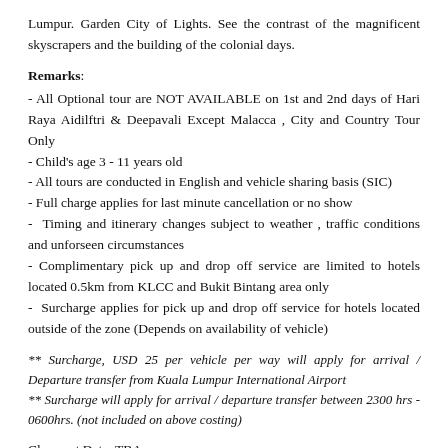Lumpur. Garden City of Lights. See the contrast of the magnificent skyscrapers and the building of the colonial days.
Remarks:
- All Optional tour are NOT AVAILABLE on 1st and 2nd days of Hari Raya Aidilftri & Deepavali Except Malacca , City and Country Tour Only
- Child's age 3 - 11 years old
- All tours are conducted in English and vehicle sharing basis (SIC)
- Full charge applies for last minute cancellation or no show
- Timing and itinerary changes subject to weather , traffic conditions and unforseen circumstances
- Complimentary pick up and drop off service are limited to hotels located 0.5km from KLCC and Bukit Bintang area only
- Surcharge applies for pick up and drop off service for hotels located outside of the zone (Depends on availability of vehicle)
** Surcharge, USD 25 per vehicle per way will apply for arrival / Departure transfer from Kuala Lumpur International Airport
** Surcharge will apply for arrival / departure transfer between 2300 hrs - 0600hrs. (not included on above costing)
Close out Date: TBA